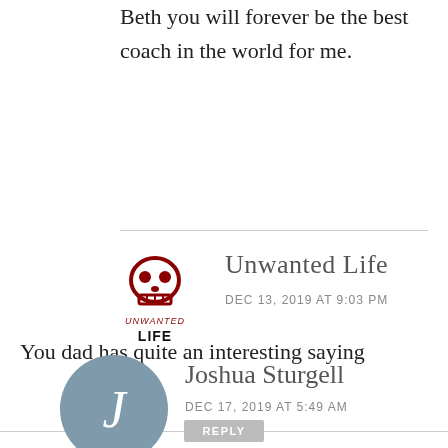Beth you will forever be the best coach in the world for me.
[Figure (logo): Unwanted Life logo with skull icon, text 'UNWANTED' in red italic and 'LIFE' in bold black]
Unwanted Life
DEC 13, 2019 AT 9:03 PM
You dad has quite an interesting saying
REPLY
[Figure (illustration): Joshua Sturgell avatar: grey circle with white letter J]
Joshua Sturgell
DEC 17, 2019 AT 5:49 AM